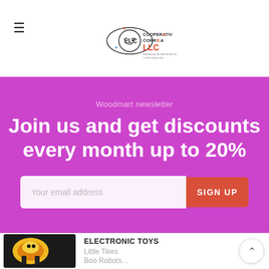[Figure (logo): Cooperativa Correa LLC logo — circular orbital design with LLC text and 'Empresa de Importación y Exportación' tagline]
Woodmart newsletter
Join us and get discounts every month up to 20%
Your email address
SIGN UP
ELECTRONIC TOYS
Little Tikes
[Figure (photo): Yellow and black electronic toy robot/figure product image]